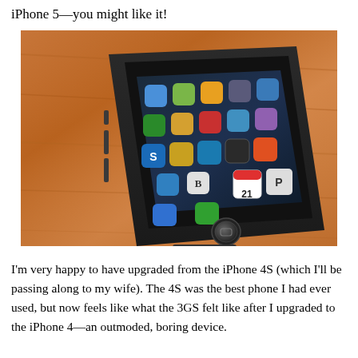iPhone 5—you might like it!
[Figure (photo): A black iPhone 5 smartphone lying on a wooden surface, showing the home screen with various app icons including Shazam, Messages, Maps, and others. The phone has a dark metallic frame and a home button at the bottom.]
I'm very happy to have upgraded from the iPhone 4S (which I'll be passing along to my wife). The 4S was the best phone I had ever used, but now feels like what the 3GS felt like after I upgraded to the iPhone 4—an outmoded, boring device.